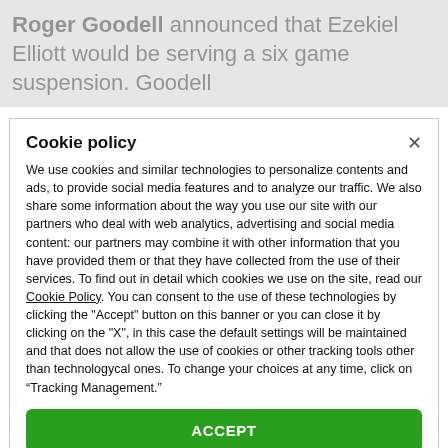Roger Goodell announced that Ezekiel Elliott would be serving a six game suspension. Goodell
Cookie policy
We use cookies and similar technologies to personalize contents and ads, to provide social media features and to analyze our traffic. We also share some information about the way you use our site with our partners who deal with web analytics, advertising and social media content: our partners may combine it with other information that you have provided them or that they have collected from the use of their services. To find out in detail which cookies we use on the site, read our Cookie Policy. You can consent to the use of these technologies by clicking the "Accept" button on this banner or you can close it by clicking on the "X", in this case the default settings will be maintained and that does not allow the use of cookies or other tracking tools other than technologycal ones. To change your choices at any time, click on “Tracking Management.”
ACCEPT
TRACKERS MANAGEMENT
Show vendors | Show purposes